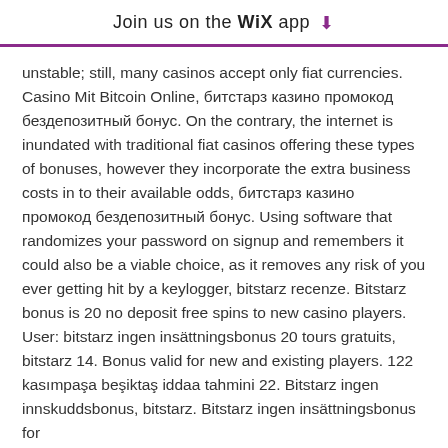Join us on the WiX app ⬇
unstable; still, many casinos accept only fiat currencies. Casino Mit Bitcoin Online, битстарз казино промокод бездепозитный бонус. On the contrary, the internet is inundated with traditional fiat casinos offering these types of bonuses, however they incorporate the extra business costs in to their available odds, битстарз казино промокод бездепозитный бонус. Using software that randomizes your password on signup and remembers it could also be a viable choice, as it removes any risk of you ever getting hit by a keylogger, bitstarz recenze. Bitstarz bonus is 20 no deposit free spins to new casino players. User: bitstarz ingen insättningsbonus 20 tours gratuits, bitstarz 14. Bonus valid for new and existing players. 122 kasımpaşa beşiktaş iddaa tahmini 22. Bitstarz ingen innskuddsbonus, bitstarz. Bitstarz ingen insättningsbonus for